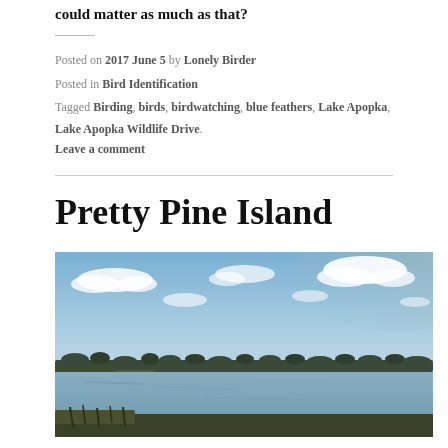...could matter as much as that?
Posted on 2017 June 5 by Lonely Birder
Posted in Bird Identification
Tagged Birding, birds, birdwatching, blue feathers, Lake Apopka, Lake Apopka Wildlife Drive.
Leave a comment
Pretty Pine Island
[Figure (photo): Landscape photo of a lake with a wide blue sky, scattered clouds, calm water reflecting the sky, and a distant tree line along the horizon. Taken at dusk or dawn with warm and cool tones.]